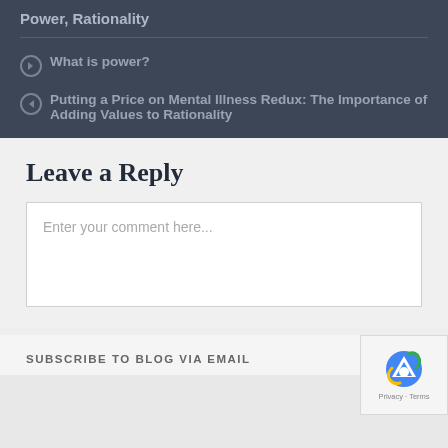Power, Rationality
What is power?
Putting a Price on Mental Illness Redux: The Importance of Adding Values to Rationality
Leave a Reply
Enter your comment here...
SUBSCRIBE TO BLOG VIA EMAIL